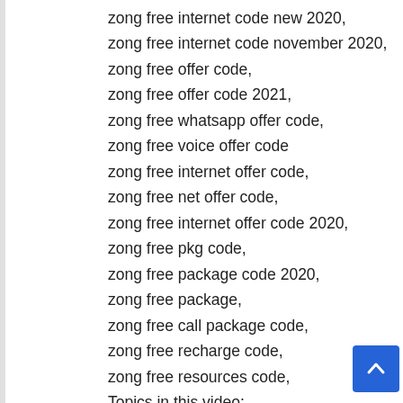zong free internet code new 2020,
zong free internet code november 2020,
zong free offer code,
zong free offer code 2021,
zong free whatsapp offer code,
zong free voice offer code
zong free internet offer code,
zong free net offer code,
zong free internet offer code 2020,
zong free pkg code,
zong free package code 2020,
zong free package,
zong free call package code,
zong free recharge code,
zong free resources code,
Topics in this video: